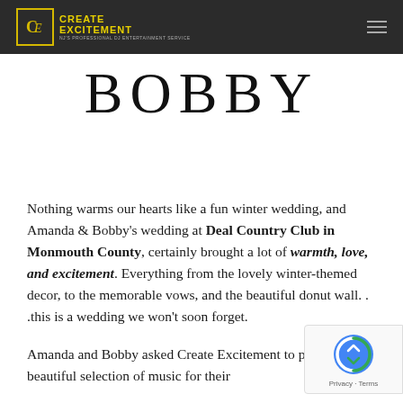CREATE EXCITEMENT - NJ's Professional DJ Entertainment Service
BOBBY
Nothing warms our hearts like a fun winter wedding, and Amanda & Bobby's wedding at Deal Country Club in Monmouth County, certainly brought a lot of warmth, love, and excitement. Everything from the lovely winter-themed decor, to the memorable vows, and the beautiful donut wall. . .this is a wedding we won't soon forget.
Amanda and Bobby asked Create Excitement to provide a beautiful selection of music for their